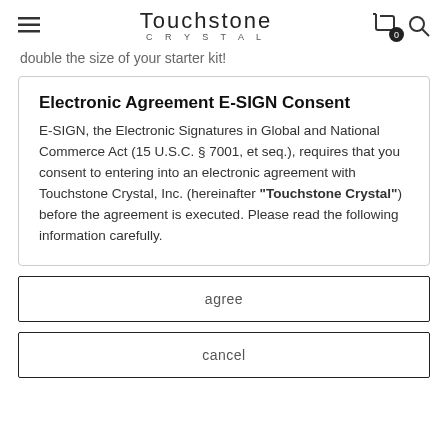Touchstone CRYSTAL
double the size of your starter kit!
Electronic Agreement E-SIGN Consent
E-SIGN, the Electronic Signatures in Global and National Commerce Act (15 U.S.C. § 7001, et seq.), requires that you consent to entering into an electronic agreement with Touchstone Crystal, Inc. (hereinafter "Touchstone Crystal") before the agreement is executed. Please read the following information carefully.
agree
cancel